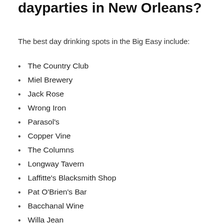dayparties in New Orleans?
The best day drinking spots in the Big Easy include:
The Country Club
Miel Brewery
Jack Rose
Wrong Iron
Parasol's
Copper Vine
The Columns
Longway Tavern
Laffitte's Blacksmith Shop
Pat O'Brien's Bar
Bacchanal Wine
Willa Jean
Ace Hotel's Rooftop Bar Alto